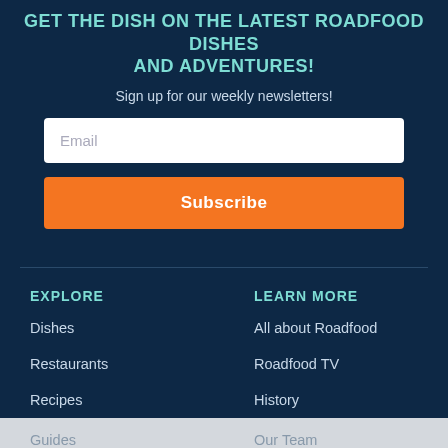GET THE DISH ON THE LATEST ROADFOOD DISHES and ADVENTURES!
Sign up for our weekly newsletters!
Email
Subscribe
EXPLORE
LEARN MORE
Dishes
All about Roadfood
Restaurants
Roadfood TV
Recipes
History
Guides
Our Team